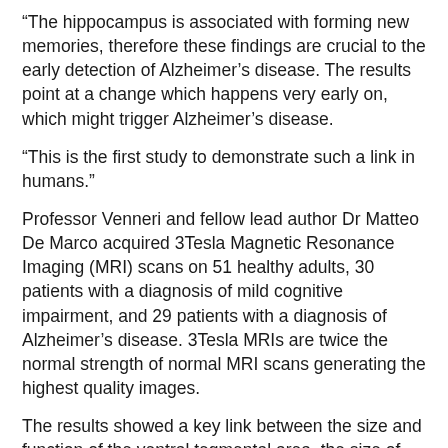“The hippocampus is associated with forming new memories, therefore these findings are crucial to the early detection of Alzheimer’s disease. The results point at a change which happens very early on, which might trigger Alzheimer’s disease.
“This is the first study to demonstrate such a link in humans.”
Professor Venneri and fellow lead author Dr Matteo De Marco acquired 3Tesla Magnetic Resonance Imaging (MRI) scans on 51 healthy adults, 30 patients with a diagnosis of mild cognitive impairment, and 29 patients with a diagnosis of Alzheimer’s disease. 3Tesla MRIs are twice the normal strength of normal MRI scans generating the highest quality images.
The results showed a key link between the size and function of the ventral tegmental area, the size of the hippocampus and the ability to learn new material.
“More studies are necessary, but these findings could potentially lead to a new way of screening the elderly population for early signs of Alzheimer’s disease, changing the way brain scans are acquired and interpreted and using